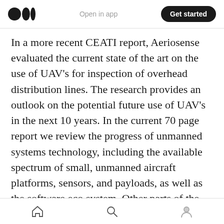Open in app | Get started
In a more recent CEATI report, Aeriosense evaluated the current state of the art on the use of UAV's for inspection of overhead distribution lines. The research provides an outlook on the potential future use of UAV's in the next 10 years. In the current 70 page report we review the progress of unmanned systems technology, including the available spectrum of small, unmanned aircraft platforms, sensors, and payloads, as well as the software eco system. Other parts of the study focus on the particular aspects of the application in distribution facilities
Home | Search | Profile